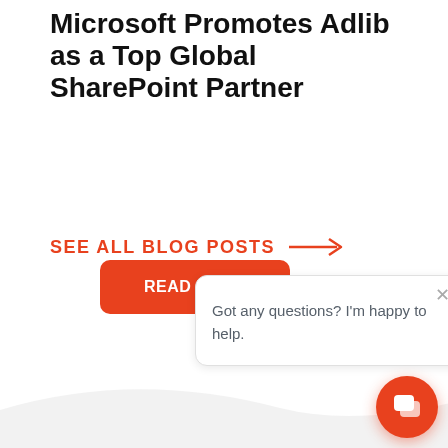Microsoft Promotes Adlib as a Top Global SharePoint Partner
READ MORE
SEE ALL BLOG POSTS →
[Figure (screenshot): Chat popup bubble with close X button and text: Got any questions? I'm happy to help.]
[Figure (illustration): Orange circular chat button in bottom right corner with speech bubble icon]